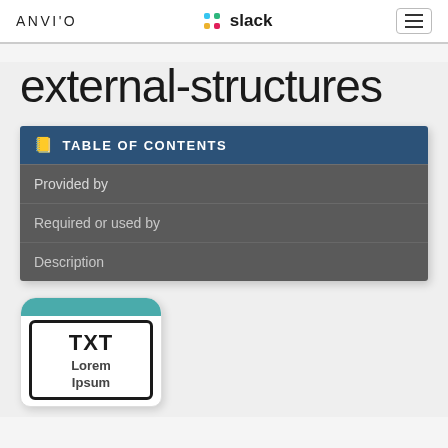ANVI'O | slack | ≡
external-structures
| TABLE OF CONTENTS |
| --- |
| Provided by |
| Required or used by |
| Description |
[Figure (illustration): TXT card icon with teal rounded top, black border, 'TXT' label, and 'Lorem Ipsum' text below]